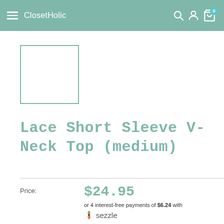ClosetHolic
[Figure (other): Product thumbnail placeholder box with teal border]
Lace Short Sleeve V-Neck Top (medium)
Price: $24.95
or 4 interest-free payments of $6.24 with sezzle